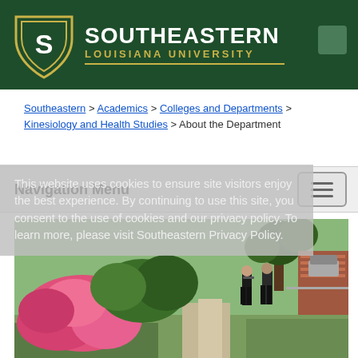Southeastern Louisiana University
Southeastern > Academics > Colleges and Departments > Kinesiology and Health Studies > About the Department
This website uses cookies to ensure site visitors enjoy the best experience. By continuing to use this site, you consent to the use of cookies and our privacy policy. To learn more, please visit Southeastern Privacy Policy.
Navigation Menu
[Figure (photo): Campus photo showing students walking on a path with pink flowering bushes and trees in the foreground and brick buildings in the background]